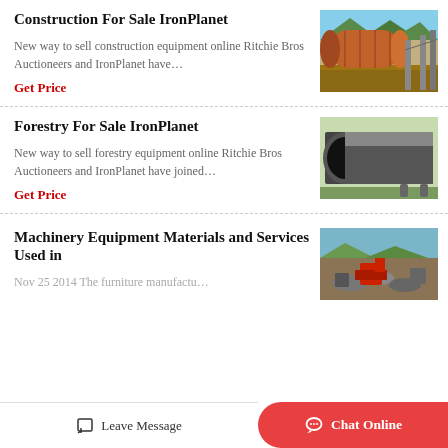Construction For Sale IronPlanet
New way to sell construction equipment online Ritchie Bros Auctioneers and IronPlanet have…
Get Price
[Figure (photo): Industrial orange cylindrical machinery/rotary drum at a construction site with mountains in background]
Forestry For Sale IronPlanet
New way to sell forestry equipment online Ritchie Bros Auctioneers and IronPlanet have joined…
Get Price
[Figure (photo): Large black cylindrical pipe/drum viewed from the open end, outdoors]
Machinery Equipment Materials and Services Used in
Nov 25 2014 The furniture manufactu…
[Figure (photo): Outdoor machinery/construction equipment scene with red machinery and rubble]
Leave Message   Chat Online